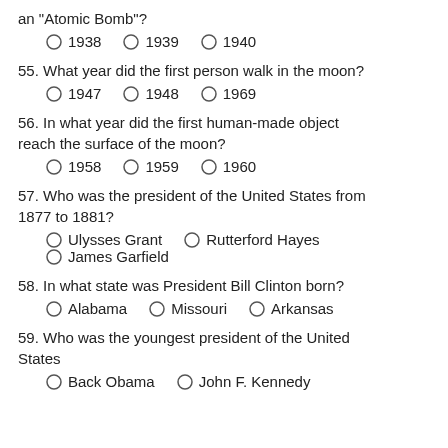an "Atomic Bomb"?
1938   1939   1940
55. What year did the first person walk in the moon?
1947   1948   1969
56. In what year did the first human-made object reach the surface of the moon?
1958   1959   1960
57. Who was the president of the United States from 1877 to 1881?
Ulysses Grant   Rutterford Hayes   James Garfield
58. In what state was President Bill Clinton born?
Alabama   Missouri   Arkansas
59. Who was the youngest president of the United States
Back Obama   John F. Kennedy